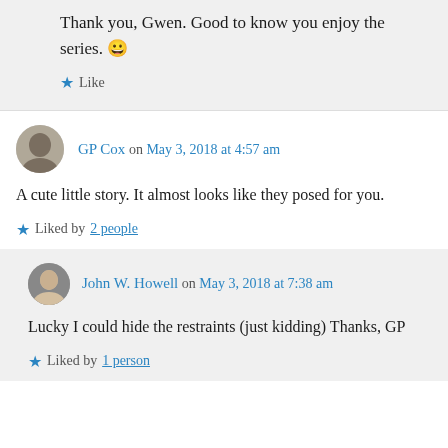Thank you, Gwen. Good to know you enjoy the series. 😀
Like
GP Cox on May 3, 2018 at 4:57 am
A cute little story. It almost looks like they posed for you.
Liked by 2 people
John W. Howell on May 3, 2018 at 7:38 am
Lucky I could hide the restraints (just kidding) Thanks, GP
Liked by 1 person